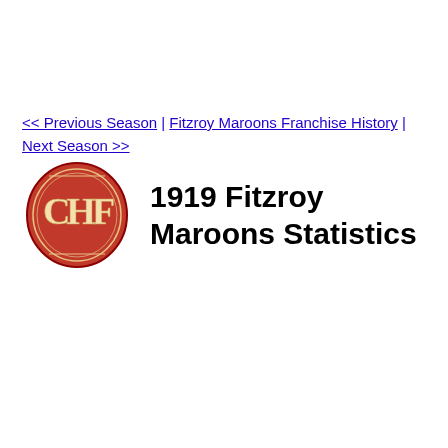<< Previous Season | Fitzroy Maroons Franchise History | Next Season >>
[Figure (logo): Fitzroy Maroons oval team logo in red with white monogram letters]
1919 Fitzroy Maroons Statistics